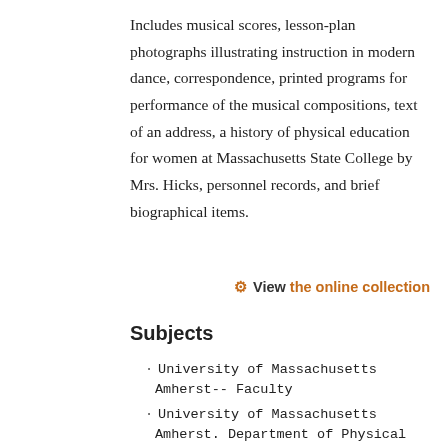Includes musical scores, lesson-plan photographs illustrating instruction in modern dance, correspondence, printed programs for performance of the musical compositions, text of an address, a history of physical education for women at Massachusetts State College by Mrs. Hicks, personnel records, and brief biographical items.
⚙ View the online collection
Subjects
University of Massachusetts Amherst-- Faculty
University of Massachusetts Amherst. Department of Physical Education